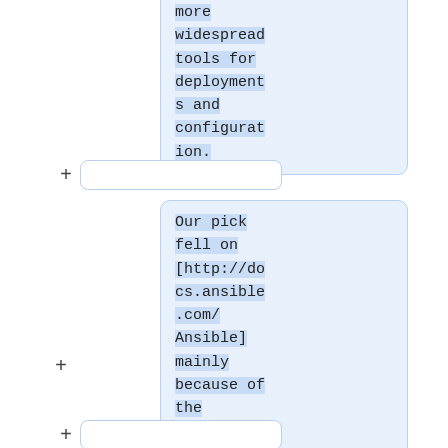more widespread tools for deployments and configuration.
+
Our pick fell on [http://docs.ansible.com/Ansible] mainly because of the following points:
+